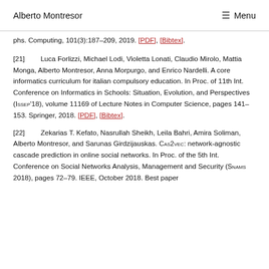Alberto Montresor  ≡ Menu
phs. Computing, 101(3):187–209, 2019. [PDF], [Bibtex].
[21]   Luca Forlizzi, Michael Lodi, Violetta Lonati, Claudio Mirolo, Mattia Monga, Alberto Montresor, Anna Morpurgo, and Enrico Nardelli. A core informatics curriculum for italian compulsory education. In Proc. of 11th Int. Conference on Informatics in Schools: Situation, Evolution, and Perspectives (ISSEP'18), volume 11169 of Lecture Notes in Computer Science, pages 141–153. Springer, 2018. [PDF], [Bibtex].
[22]   Zekarias T. Kefato, Nasrullah Sheikh, Leila Bahri, Amira Soliman, Alberto Montresor, and Sarunas Girdzijauskas. CAS2VEC: network-agnostic cascade prediction in online social networks. In Proc. of the 5th Int. Conference on Social Networks Analysis, Management and Security (SNAMS 2018), pages 72–79. IEEE, October 2018. Best paper